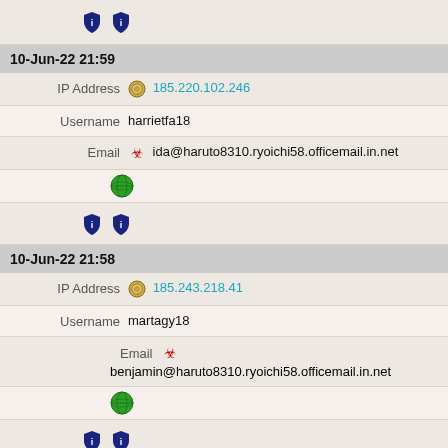[shield icons row top]
10-Jun-22 21:59
IP Address  185.220.102.246
Username  harrietfa18
Email  ida@haruto8310.ryoichi58.officemail.in.net
[globe icon]
[shield icons]
10-Jun-22 21:58
IP Address  185.243.218.41
Username  martagy18
Email  benjamin@haruto8310.ryoichi58.officemail.in.net
[globe icon]
[shield icons]
10-Jun-22 21:56
IP Address  185.220.101.176
Username  martagy18